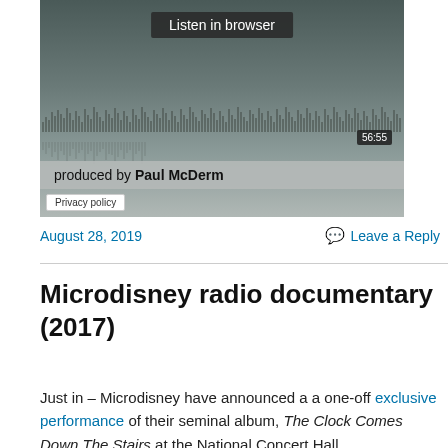[Figure (screenshot): Audio player embed showing a waveform and 'Listen in browser' button. Shows timestamp 56:55 and text 'produced by Paul McDerm'. Has a Privacy policy button at bottom left.]
August 28, 2019
Leave a Reply
Microdisney radio documentary (2017)
Just in – Microdisney have announced a a one-off exclusive performance of their seminal album, The Clock Comes Down The Stairs at the National Concert Hall